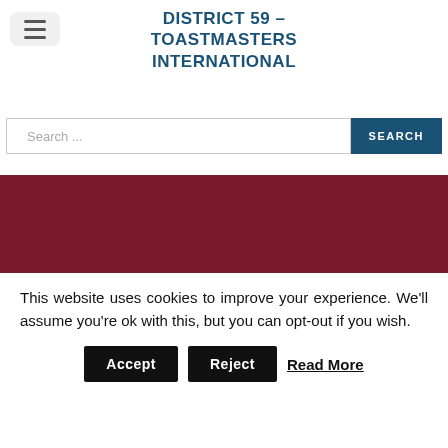DISTRICT 59 – TOASTMASTERS INTERNATIONAL
DISTRICT 59 – TOASTMASTERS INTERNATIONAL
[Figure (screenshot): Search bar with text input field showing placeholder 'Search...' and a dark teal 'SEARCH' button]
[Figure (logo): Toastmasters International globe logo on dark red banner background, with TOASTMASTERS INTERNATIONAL text]
This website uses cookies to improve your experience. We'll assume you're ok with this, but you can opt-out if you wish.
Accept   Reject   Read More